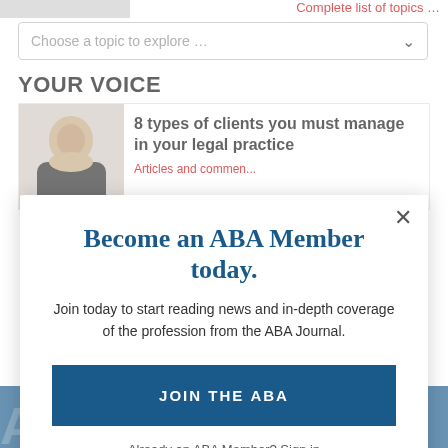Complete list of topics …
Choose a topic to explore ...
YOUR VOICE
8 types of clients you must manage in your legal practice
Articles and commentary
[Figure (screenshot): Popup modal overlay on ABA Journal website]
Become an ABA Member today.
Join today to start reading news and in-depth coverage of the profession from the ABA Journal.
JOIN THE ABA
Already an ABA Member? Sign in
Yes
ABAJOURNAL